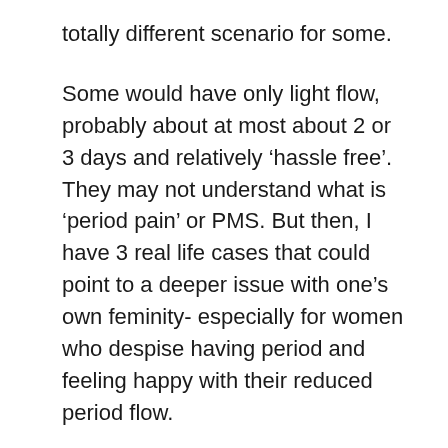totally different scenario for some.
Some would have only light flow, probably about at most about 2 or 3 days and relatively ‘hassle free’. They may not understand what is ‘period pain’ or PMS. But then, I have 3 real life cases that could point to a deeper issue with one’s own feminity- especially for women who despise having period and feeling happy with their reduced period flow.